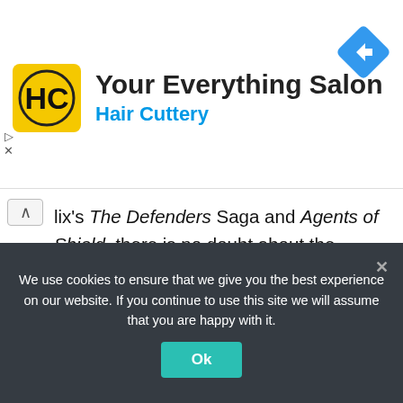[Figure (logo): Hair Cuttery ad banner with HC logo in yellow square, title 'Your Everything Salon', subtitle 'Hair Cuttery', and blue diamond navigation arrow icon]
lix's The Defenders Saga and Agents of Shield, there is no doubt about the Disney + Marvel series being canon, and not only do the shows feature some of the MCU's biggest stars like Tom Hiddleston, Anthony Mackie, and Elizabeth Olsen, but they are also deeply connected to the events of the films. Scarlet Witch's story in WandaVision for example, is the starting point for Doctor Strange in the Multiverse of Madness.
We use cookies to ensure that we give you the best experience on our website. If you continue to use this site we will assume that you are happy with it.